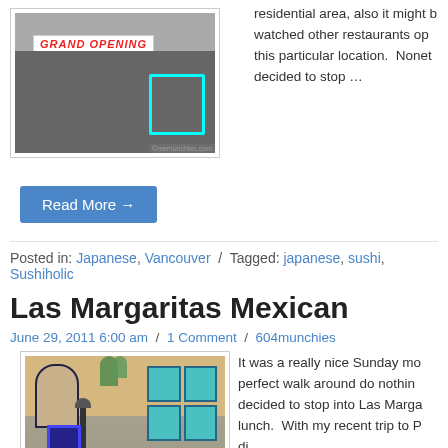[Figure (photo): Photo of a restaurant storefront with a Grand Opening sign and neon green border]
residential area, also it might b... watched other restaurants op... this particular location. Nonet... decided to stop …
Read More →
Posted in: Japanese, Vancouver / Tagged: japanese, sushi, Sushiholic
Las Margaritas Mexican
June 29, 2011 6:00 am / 1 Comment / 604munchies
[Figure (photo): Photo of Las Margaritas Mexican restaurant exterior with blue windows and a lamp post]
It was a really nice Sunday mo... perfect walk around do nothin... decided to stop into Las Marga... lunch. With my recent trip to P... di...